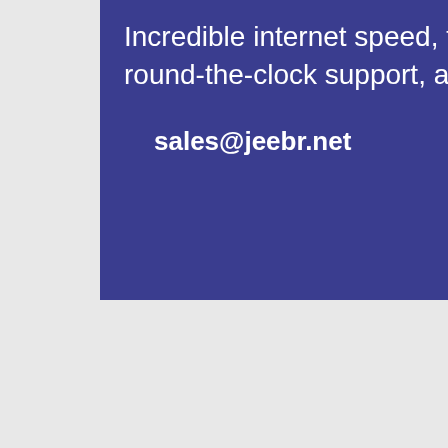Incredible internet speed, fast connectivity, quick installation, round-the-clock support, and more.
sales@jeebr.net